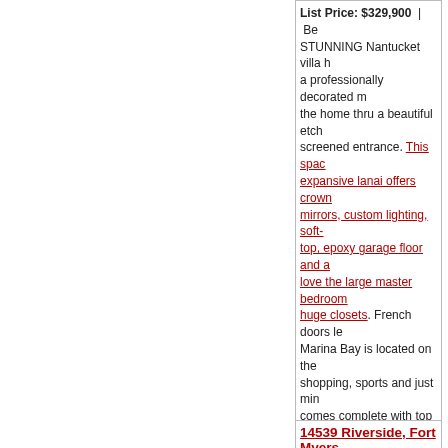List Price: $329,900  |  Be... STUNNING Nantucket villa h... a professionally decorated m... the home thru a beautiful etch... screened entrance. This spac... expansive lanai offers crown... mirrors, custom lighting, soft-... top, epoxy garage floor and a... love the large master bedroom... huge closets. French doors le... Marina Bay is located on the... shopping, sports and just min... comes complete with top of th... treatment, ceiling fans and a... filtration system. At the heart... resort-style clubhouse with fit... activities director, low HOA d... needs nothing!! **its sure to i... 156572 LOT 771
FM22 - Fort Myers City Limits
Listing Office: MVP Realty
14539 Riverside, Fort Myers
List Price: $329,000  |  Be... LOCATION! LOCATION! LOC... home sits on a gorgeous...